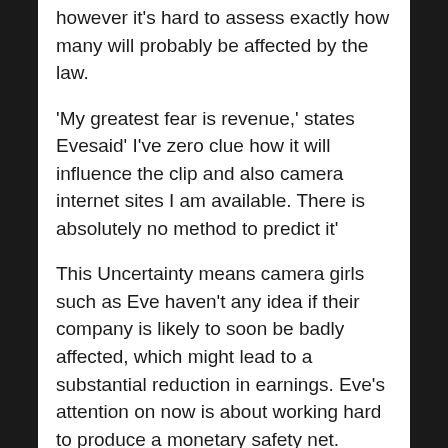however it's hard to assess exactly how many will probably be affected by the law.
'My greatest fear is revenue,' states Evesaid' I've zero clue how it will influence the clip and also camera internet sites I am available. There is absolutely no method to predict it'
This Uncertainty means camera girls such as Eve haven't any idea if their company is likely to soon be badly affected, which might lead to a substantial reduction in earnings. Eve's attention on now is about working hard to produce a monetary safety net.
Even a 2015 study estimated there is around 72 816 sex employees in Great Britain — 88